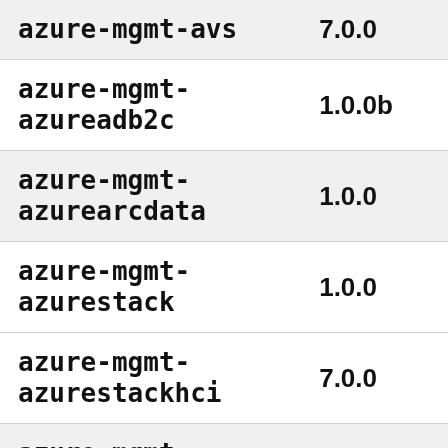| Package | Version |
| --- | --- |
| azure-mgmt-avs | 7.0.0 |
| azure-mgmt-azureadb2c | 1.0.0b |
| azure-mgmt-azurearcdata | 1.0.0 |
| azure-mgmt-azurestack | 1.0.0 |
| azure-mgmt-azurestackhci | 7.0.0 |
| azure-mgmt-baremetalinfrastructure | 1.0.0 |
| azure-mgmt-batch | 16.2.0 |